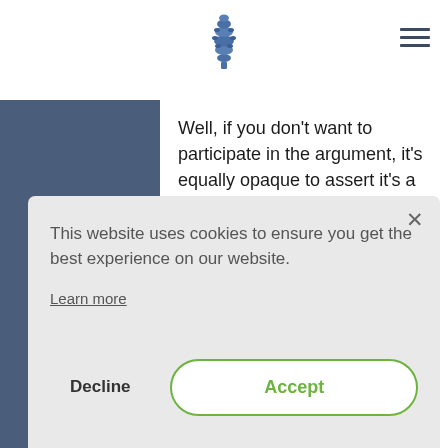[Pine cone logo] [hamburger menu]
Well, if you don't want to participate in the argument, it's equally opaque to assert it's a problem or it's not a problem, you know…
I don't know where you are in the world and how exactly the things are there, so a problem may exist. I don't find your
This website uses cookies to ensure you get the best experience on our website.
Learn more
Decline
Accept
What, this type of thing happens in software and hardware development to a